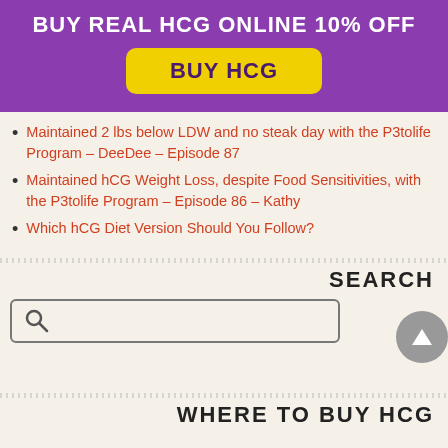BUY REAL HCG ONLINE 10% OFF
BUY HCG
Maintained 2 lbs below LDW and no steak day with the P3tolife Program – DeeDee – Episode 87
Maintained hCG Weight Loss, despite Food Sensitivities, with the P3tolife Program – Episode 86 – Kathy
Which hCG Diet Version Should You Follow?
SEARCH
[Figure (other): Search box with magnifying glass icon and an up-arrow circular button]
WHERE TO BUY HCG